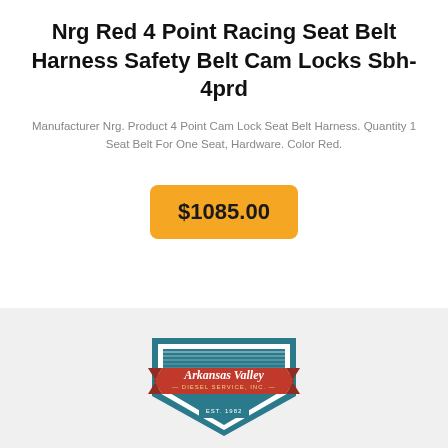Nrg Red 4 Point Racing Seat Belt Harness Safety Belt Cam Locks Sbh-4prd
Manufacturer Nrg. Product 4 Point Cam Lock Seat Belt Harness. Quantity 1 Seat Belt For One Seat, Hardware. Color Red.
$1085.00
[Figure (logo): Arkansas Valley Diesel Service, Inc. shield-shaped logo with red banner and teal border, Est. 1982]